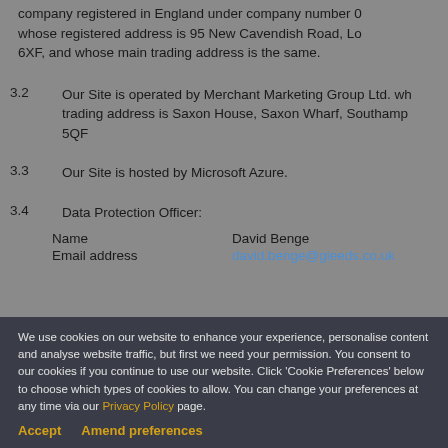company registered in England under company number 0... whose registered address is 95 New Cavendish Road, Lo... 6XF, and whose main trading address is the same.
3.2  Our Site is operated by Merchant Marketing Group Ltd. wh... trading address is Saxon House, Saxon Wharf, Southamp... 5QF
3.3  Our Site is hosted by Microsoft Azure.
3.4  Data Protection Officer:
| Name | David Benge |
| Email address | david.benge@gleeds.co.uk |
We use cookies on our website to enhance your experience, personalise content and analyse website traffic, but first we need your permission. You consent to our cookies if you continue to use our website. Click 'Cookie Preferences' below to choose which types of cookies to allow. You can change your preferences at any time via our Privacy Policy page.
Accept    Amend preferences